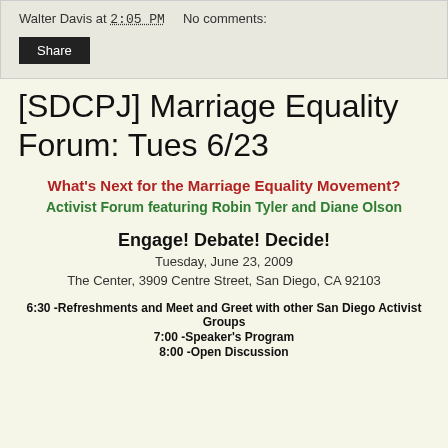Walter Davis at 2:05 PM    No comments:
Share
[SDCPJ] Marriage Equality Forum: Tues 6/23
What's Next for the Marriage Equality Movement?
Activist Forum featuring Robin Tyler and Diane Olson
Engage! Debate! Decide!
Tuesday, June 23, 2009
The Center, 3909 Centre Street, San Diego, CA 92103
6:30 -Refreshments and Meet and Greet with other San Diego Activist Groups
7:00 -Speaker's Program
8:00 -Open Discussion